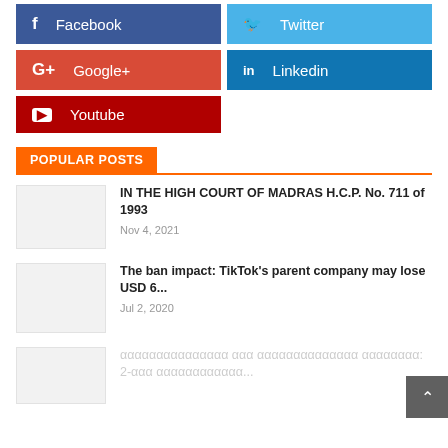[Figure (infographic): Social media share buttons: Facebook (dark blue), Twitter (light blue), Google+ (red-orange), Linkedin (blue), Youtube (dark red)]
POPULAR POSTS
[Figure (photo): Thumbnail image placeholder for first post]
IN THE HIGH COURT OF MADRAS H.C.P. No. 711 of 1993
Nov 4, 2021
[Figure (photo): Thumbnail image placeholder for second post]
The ban impact: TikTok's parent company may lose USD 6...
Jul 2, 2020
[Figure (photo): Thumbnail image placeholder for third post]
ααααααααααααααα ααα αααααααααααααα αααααααα: 2-ααα αααααααααααα...